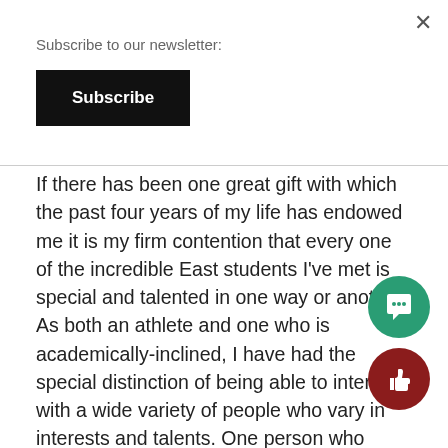Subscribe to our newsletter:
Subscribe
If there has been one great gift with which the past four years of my life has endowed me it is my firm contention that every one of the incredible East students I've met is special and talented in one way or another. As both an athlete and one who is academically-inclined, I have had the special distinction of being able to interact with a wide variety of people who vary in interests and talents. One person who struggles with reading can throw one hell of a curveball. Another who would be more uncoordinate than a baby giraffe on any athletic field can, in either verse or prose, describe the emotions and sentiments of the human condition with the utmost lucidity. A different individual who has difficulty learning algebra